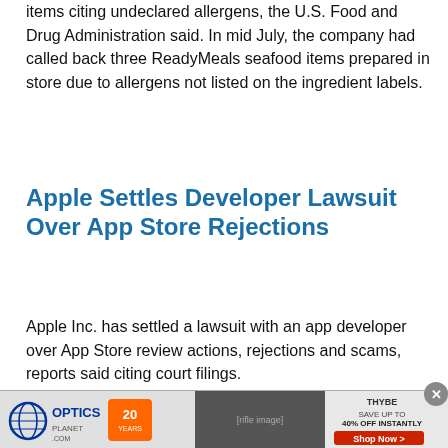items citing undeclared allergens, the U.S. Food and Drug Administration said. In mid July, the company had called back three ReadyMeals seafood items prepared in store due to allergens not listed on the ingredient labels.
Apple Settles Developer Lawsuit Over App Store Rejections
Apple Inc. has settled a lawsuit with an app developer over App Store review actions, rejections and scams, reports said citing court filings.
Cookie notice: Our website uses cookies for analytics, advertising and to improve our site. By using our site you agree to our use of cookies. To find out more, including how to change your settings, see our Cookie Policy Learn More
[Figure (screenshot): Advertisement banner: Optics Planet 20 years logo on left, tactical rifle image in center, Thybe logo on right with text SAVE UP TO 40% OFF INSTANTLY and Shop Now button]